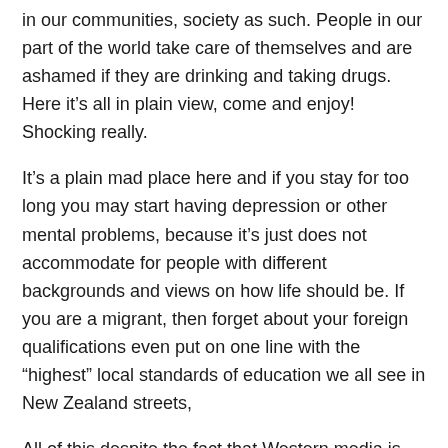in our communities, society as such. People in our part of the world take care of themselves and are ashamed if they are drinking and taking drugs. Here it's all in plain view, come and enjoy! Shocking really.
It's a plain mad place here and if you stay for too long you may start having depression or other mental problems, because it's just does not accommodate for people with different backgrounds and views on how life should be. If you are a migrant, then forget about your foreign qualifications even put on one line with the “highest” local standards of education we all see in New Zealand streets,
All of this despite the fact that Western media is